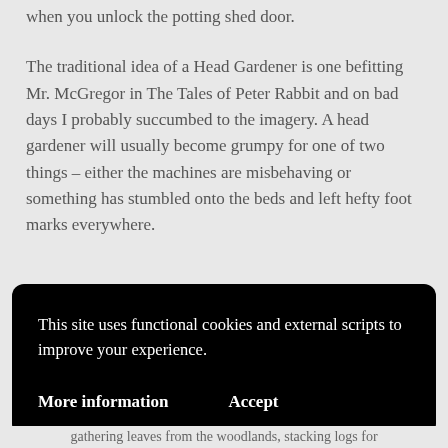when you unlock the potting shed door.
The traditional idea of a Head Gardener is one befitting Mr. McGregor in The Tales of Peter Rabbit and on bad days I probably succumbed to the imagery. A head gardener will usually become grumpy for one of two things – either the machines are misbehaving or something has stumbled onto the beds and left hefty foot marks everywhere.
This site uses functional cookies and external scripts to improve your experience.
More information
Accept
gathering leaves from the woodlands, stacking logs for